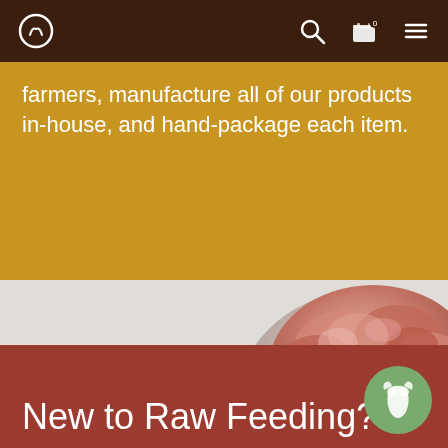Navigation bar with logo, search, cart, and menu icons
farmers, manufacture all of our products in-house, and hand-package each item.
[Figure (photo): Photo of raw ground meat in a bowl, upper right corner visible against a light gray background]
New to Raw Feeding?